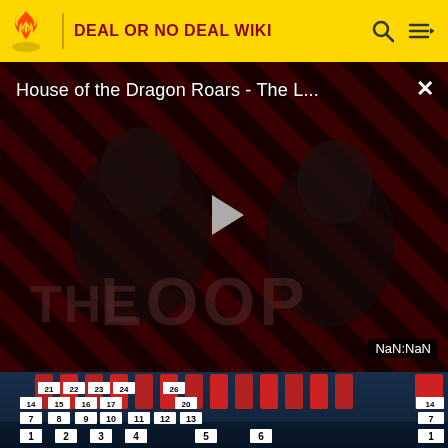DEAL OR NO DEAL WIKI
[Figure (screenshot): Video player showing 'House of the Dragon Roars - The L...' with a play button in the center, diagonal red and dark striped background with two figures visible, 'THE LOOP' text watermark, and 'NaN:NaN' duration label in bottom right corner]
[Figure (screenshot): Deal or No Deal game show set with models in red dresses holding numbered briefcases arranged in rows: row 1 numbers 21-26, row 2 numbers 14-20, row 3 numbers 7-13, row 4 numbers 1-6]